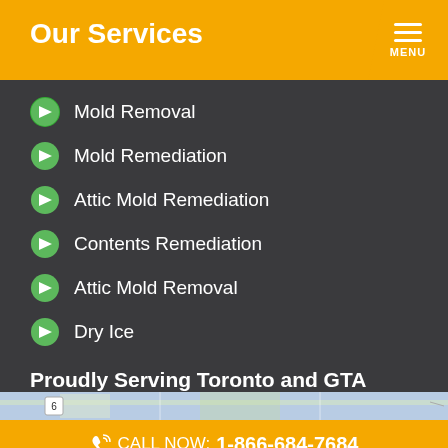Our Services
Mold Removal
Mold Remediation
Attic Mold Remediation
Contents Remediation
Attic Mold Removal
Dry Ice
Proudly Serving Toronto and GTA
[Figure (map): Map strip showing geographic area]
CALL NOW: 1-866-684-7684